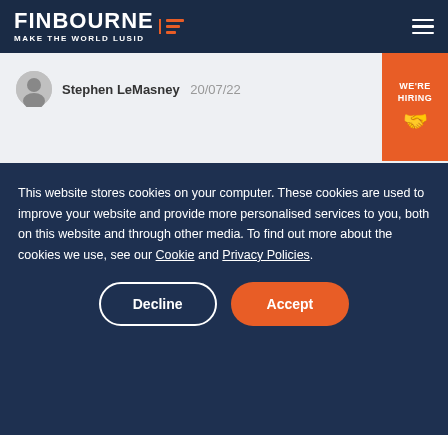FINBOURNE | MAKE THE WORLD LUSID
Stephen LeMasney 20/07/22
This website stores cookies on your computer. These cookies are used to improve your website and provide more personalised services to you, both on this website and through other media. To find out more about the cookies we use, see our Cookie and Privacy Policies.
Decline  Accept